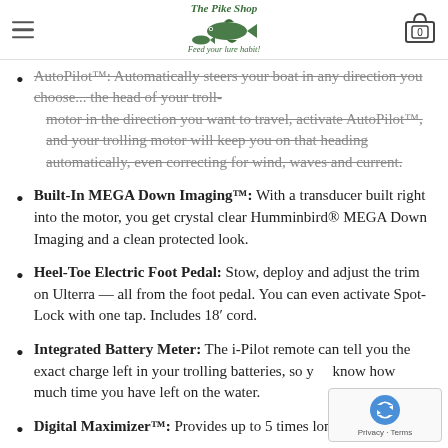The Pike Shop — Feed your lure habit! [hamburger menu, logo, cart with 0]
AutoPilot™: Automatically steers your boat in any direction you choose... motor in the direction you want to travel, activate AutoPilot™, and your trolling motor will keep you on that heading automatically, even correcting for wind, waves and current.
Built-In MEGA Down Imaging™: With a transducer built right into the motor, you get crystal clear Humminbird® MEGA Down Imaging and a clean protected look.
Heel-Toe Electric Foot Pedal: Stow, deploy and adjust the trim on Ulterra — all from the foot pedal. You can even activate Spot-Lock with one tap. Includes 18′ cord.
Integrated Battery Meter: The i-Pilot remote can tell you the exact charge left in your trolling batteries, so you know how much time you have left on the water.
Digital Maximizer™: Provides up to 5 times longer run